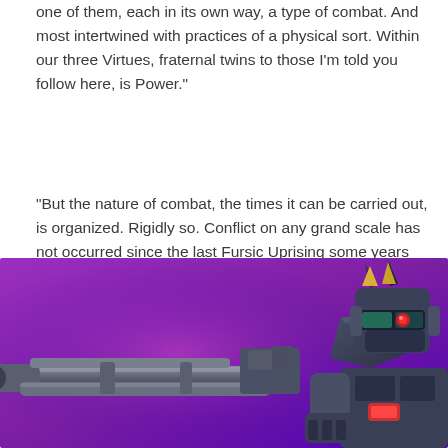one of them, each in its own way, a type of combat. And most intertwined with practices of a physical sort. Within our three Virtues, fraternal twins to those I'm told you follow here, is Power."
"But the nature of combat, the times it can be carried out, is organized. Rigidly so. Conflict on any grand scale has not occurred since the last Fursic Uprising some years ago. So yes, I would say it is valued. But seldom practiced in earnest."
+ Quote
[Figure (illustration): Anime-style mecha robot (Gundam) with large cannon barrel extending to the left, on a purple/magenta gradient background]